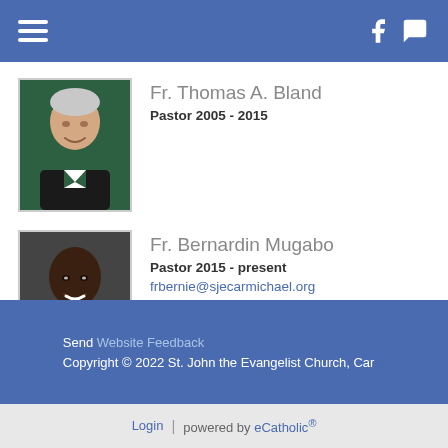Navigation header with hamburger menu and Facebook/chat icons
[Figure (photo): Portrait photo of Fr. Thomas A. Bland against a green background]
Fr. Thomas A. Bland
Pastor 2005 - 2015
[Figure (photo): Portrait photo of Fr. Bernardin Mugabo against a dark background]
Fr. Bernardin Mugabo
Pastor 2015 - present
frbernie@sjecarmichael.org
Send Website Feedback
Copyright © 2022 St. John the Evangelist Church, Carmichael
Login | powered by eCatholic®